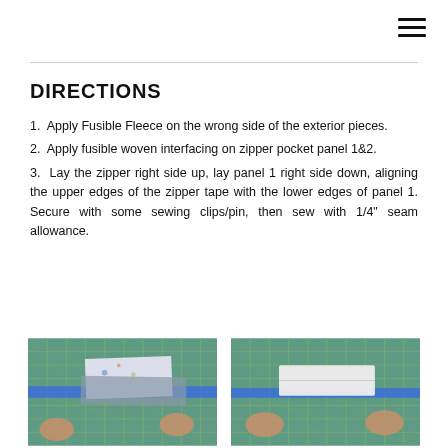DIRECTIONS
1.  Apply Fusible Fleece on the wrong side of the exterior pieces.
2.  Apply fusible woven interfacing on zipper pocket panel 1&2.
3.  Lay the zipper right side up, lay panel 1 right side down, aligning the upper edges of the zipper tape with the lower edges of panel 1. Secure with some sewing clips/pin, then sew with 1/4" seam allowance.
[Figure (photo): Two hands working with fabric and a blue zipper on a green cutting mat - left image]
[Figure (photo): Two hands working with fabric and a blue zipper on a green cutting mat - right image]